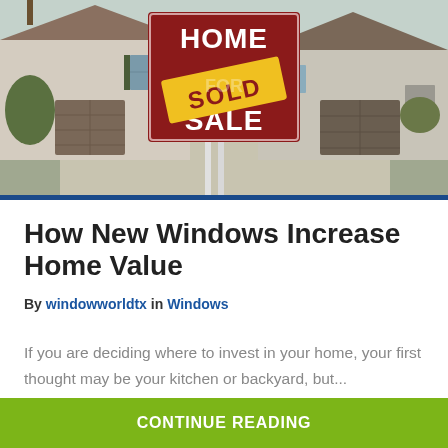[Figure (photo): Suburban homes with a 'Home For Sale' sign in the center displaying a yellow 'SOLD' banner across it. Two-story stucco houses visible in the background with a driveway in the foreground.]
How New Windows Increase Home Value
By windowworldtx in Windows
If you are deciding where to invest in your home, your first thought may be your kitchen or backyard, but...
CONTINUE READING